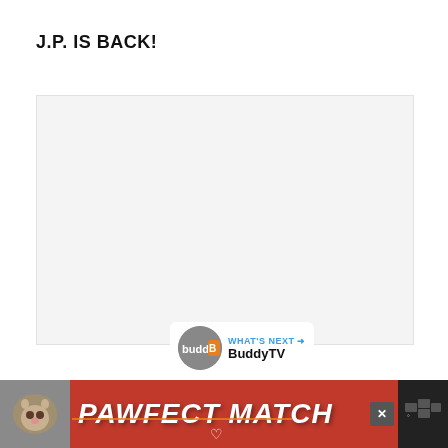J.P. IS BACK!
[Figure (other): Embedded video player placeholder with light gray background]
[Figure (infographic): Like button (blue circle with heart icon), count of 1, and share button below]
[Figure (other): What's Next promo: BuddyTV logo circle and BuddyTV label with arrow]
[Figure (other): Bottom advertisement banner with orange/red background showing a cat and text PAWFECT MATCH]